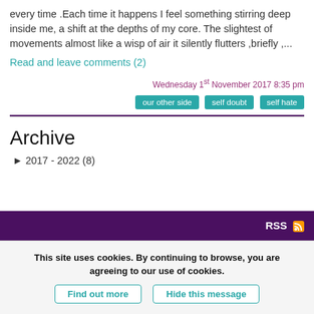every time .Each time it happens I feel something stirring deep inside me, a shift at the depths of my core. The slightest of movements almost like a wisp of air it silently flutters ,briefly ,...
Read and leave comments (2)
Wednesday 1st November 2017 8:35 pm
our other side | self doubt | self hate
Archive
▶ 2017 - 2022 (8)
RSS
This site uses cookies. By continuing to browse, you are agreeing to our use of cookies.
Find out more | Hide this message